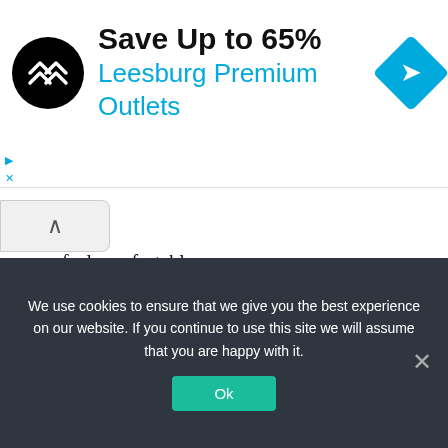[Figure (screenshot): Advertisement banner: black circular logo with double arrow icon, text 'Save Up to 65%' in bold black and 'Leesburg Premium Outlets' in blue, blue diamond navigation icon on right]
feel comfortable.
Despite the pain, it felt nice, however, she also felt weird. She had good reason to feel this way: Cecil had requested that she never let a strange man touch her body before marriage.
We use cookies to ensure that we give you the best experience on our website. If you continue to use this site we will assume that you are happy with it.